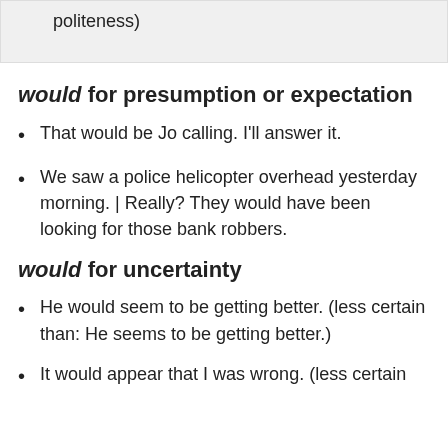politeness)
would for presumption or expectation
That would be Jo calling. I'll answer it.
We saw a police helicopter overhead yesterday morning. | Really? They would have been looking for those bank robbers.
would for uncertainty
He would seem to be getting better. (less certain than: He seems to be getting better.)
It would appear that I was wrong. (less certain